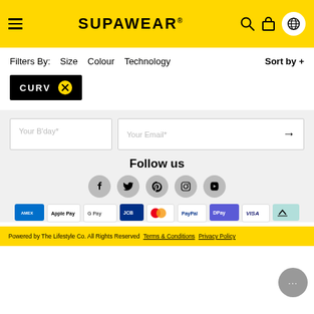SUPAWEAR®
Filters By:  Size  Colour  Technology  Sort by +
CURV ×
Your B'day*   Your Email*
Follow us
[Figure (other): Social media icons: Facebook, Twitter, Pinterest, Instagram, YouTube]
[Figure (other): Payment method icons: American Express, Apple Pay, Google Pay, JCB, Mastercard, PayPal, DPay, Visa, Afterpay]
Powered by The Lifestyle Co. All Rights Reserved  Terms & Conditions  Privacy Policy